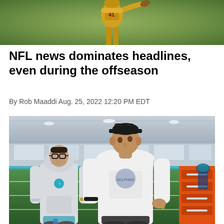[Figure (photo): Top of page: partial photo of a football player in yellow/gold jersey throwing a ball, green background]
NFL news dominates headlines, even during the offseason
By Rob Maaddi Aug. 25, 2022 12:20 PM EDT
[Figure (photo): Two men standing in an indoor NFL practice facility. Left man wears a light gray Miami Dolphins hoodie and glasses. Right man wears a white t-shirt with a Dolphins logo, dark cap and sunglasses on his head. Football players visible in background on green turf field.]